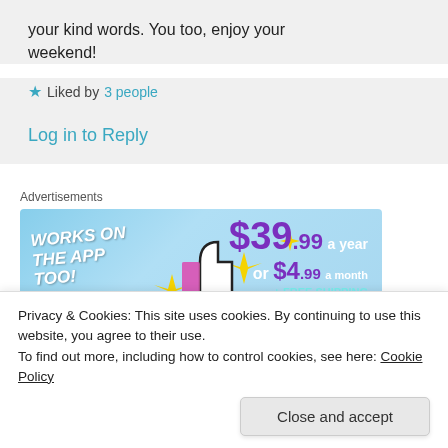your kind words. You too, enjoy your weekend!
★ Liked by 3 people
Log in to Reply
Advertisements
[Figure (illustration): Advertisement banner: 'WORKS ON THE APP TOO!' with $39.99 a year or $4.99 a month + FREE SHIPPING, blue background with thumbs up icon and sparkles]
Privacy & Cookies: This site uses cookies. By continuing to use this website, you agree to their use.
To find out more, including how to control cookies, see here: Cookie Policy
Close and accept